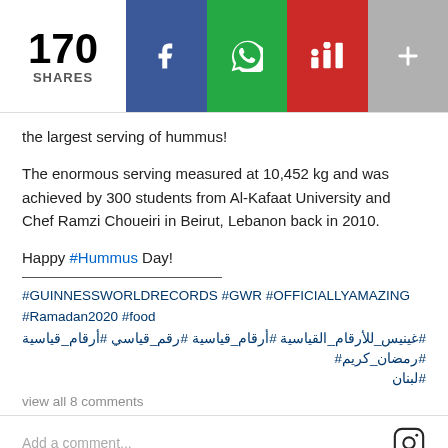[Figure (screenshot): Social media share bar with 170 shares count, Facebook button (blue), WhatsApp button (green), social/community button (red), more button (gray)]
the largest serving of hummus!
The enormous serving measured at 10,452 kg and was achieved by 300 students from Al-Kafaat University and Chef Ramzi Choueiri in Beirut, Lebanon back in 2010.
Happy #Hummus Day!
#GUINNESSWORLDRECORDS #GWR #OFFICIALLYAMAZING #Ramadan2020 #food
#أرقام_قياسية #أرقام_قياسية للأرقام_القياسية# غينيس_للأرقام_القياسية# رمضان_كريم# #لبنان
view all 8 comments
Add a comment...
Lebanon broke this world records twice, in 2009, a…